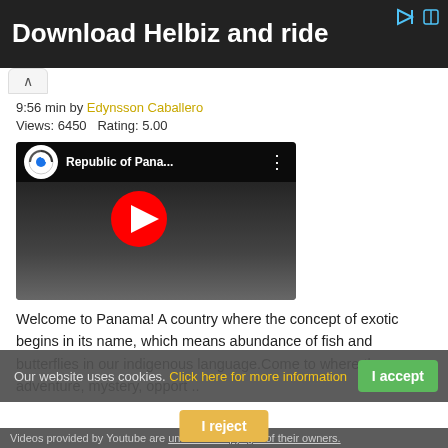[Figure (screenshot): Advertisement banner with dark background showing 'Download Helbiz and ride' text with ad icons]
9:56 min by Edynsson Caballero
Views: 6450 Rating: 5.00
[Figure (screenshot): YouTube video thumbnail showing 'Republic of Pana...' with a city skyline background, YouTube play button, and a globe logo]
Welcome to Panama! A country where the concept of exotic begins in its name, which means abundance of fish and butterflies in our indigenous language.Come to where the suns, adventure, mystery, opport ..
Our website uses cookies. Click here for more information
Videos provided by Youtube are under the copyright of their owners.